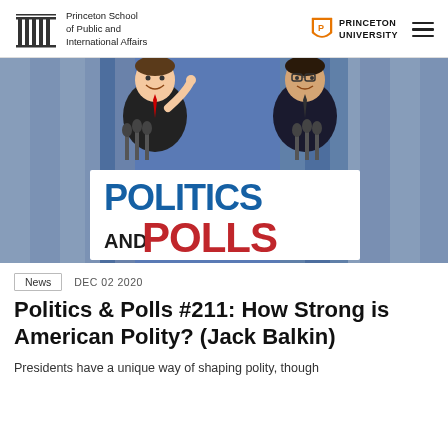Princeton School of Public and International Affairs | Princeton University
[Figure (photo): Politics and Polls podcast artwork showing two men in suits at podiums with blue curtain background, large text reading POLITICS AND POLLS]
News   DEC 02 2020
Politics & Polls #211: How Strong is American Polity? (Jack Balkin)
Presidents have a unique way of shaping polity, though